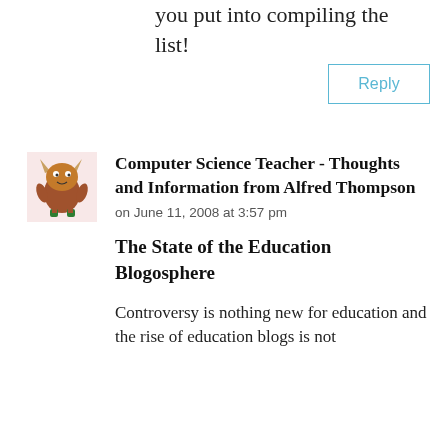you put into compiling the list!
Reply
[Figure (illustration): Cartoon monster avatar — a brown furry creature with horns and green boots]
Computer Science Teacher - Thoughts and Information from Alfred Thompson
on June 11, 2008 at 3:57 pm
The State of the Education Blogosphere
Controversy is nothing new for education and the rise of education blogs is not